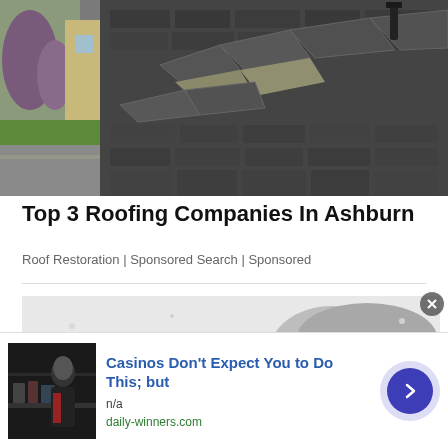[Figure (photo): Damaged roof with lifted and broken asphalt shingles, trees and parked car visible in background]
Top 3 Roofing Companies In Ashburn
Roof Restoration | Sponsored Search | Sponsored
[Figure (photo): Black and white close-up photo of a baby's head and face]
[Figure (photo): Advertisement thumbnail showing a person in dark clothing]
Casinos Don't Expect You to Do This; but
n/a
daily-winners.com